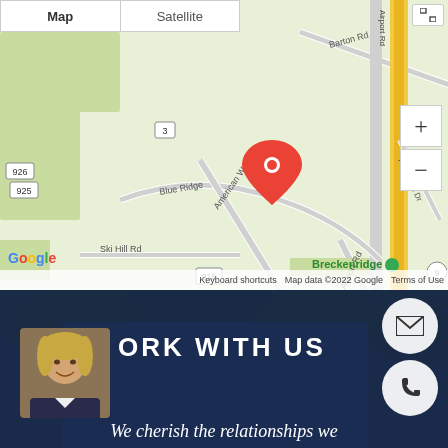[Figure (map): Google Maps screenshot showing Breckenridge area with route markers for Blue Ridge, American Way, Airport Rd, Barton Rd, Ski Hill Rd, and Highlands Dr. Roads numbered 3, 9, 915, 916, 925, 926. Red location pin dropped near Blue Ridge. Map/Satellite toggle buttons at top. Zoom +/- controls on right. Google logo bottom left.]
[Figure (screenshot): Real estate agent website section showing dark blue background with trees, circular email and phone contact icons on right, photo of a blonde woman smiling, large white bold text reading 'ORK WITH US' (W is cut off), and italic white text 'We cherish the relationships we' at bottom.]